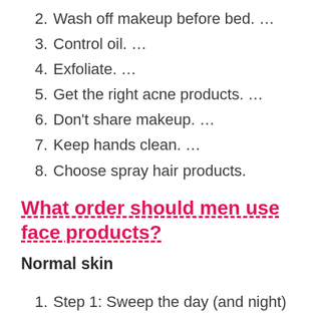2. Wash off makeup before bed. …
3. Control oil. …
4. Exfoliate. …
5. Get the right acne products. …
6. Don't share makeup. …
7. Keep hands clean. …
8. Choose spray hair products.
What order should men use face products?
Normal skin
1. Step 1: Sweep the day (and night) away with cleanser. Cleanse your skin morning and night to get rid of grease, grime and daily